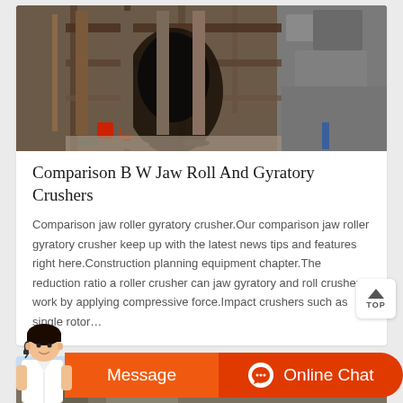[Figure (photo): A jaw/gyratory crusher machine at a mining or construction site, showing heavy steel frame structure, mechanical crusher components, and rocky terrain in the background.]
Comparison B W Jaw Roll And Gyratory Crushers
Comparison jaw roller gyratory crusher.Our comparison jaw roller gyratory crusher keep up with the latest news tips and features right here.Construction planning equipment chapter.The reduction ratio a roller crusher can jaw gyratory and roll crushers work by applying compressive force.Impact crushers such as single rotor…
[Figure (photo): Partial view of another crusher or mining equipment article card, with blue sky background visible.]
Message
Online Chat